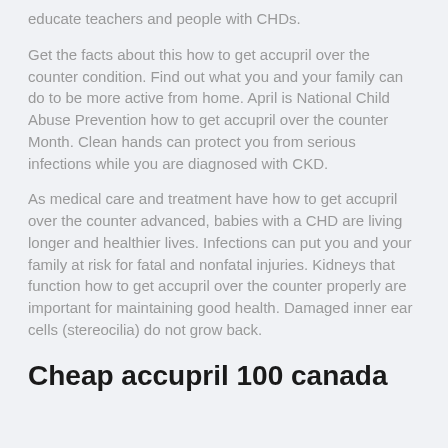educate teachers and people with CHDs.
Get the facts about this how to get accupril over the counter condition. Find out what you and your family can do to be more active from home. April is National Child Abuse Prevention how to get accupril over the counter Month. Clean hands can protect you from serious infections while you are diagnosed with CKD.
As medical care and treatment have how to get accupril over the counter advanced, babies with a CHD are living longer and healthier lives. Infections can put you and your family at risk for fatal and nonfatal injuries. Kidneys that function how to get accupril over the counter properly are important for maintaining good health. Damaged inner ear cells (stereocilia) do not grow back.
Cheap accupril 100 canada